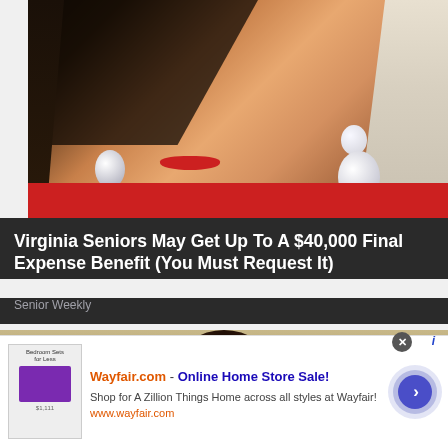[Figure (photo): Close-up photo of an elderly woman wearing a black lace veil hat, pearl drop earrings, red lipstick, and a red outfit, with white/blonde hair]
Virginia Seniors May Get Up To A $40,000 Final Expense Benefit (You Must Request It)
Senior Weekly
[Figure (photo): Partial view of a second article image showing a sandy/earthy background with a dark hat]
[Figure (screenshot): Advertisement overlay: Wayfair.com - Online Home Store Sale! Shop for A Zillion Things Home across all styles at Wayfair! www.wayfair.com - with a bedroom furniture image thumbnail and a circular arrow button]